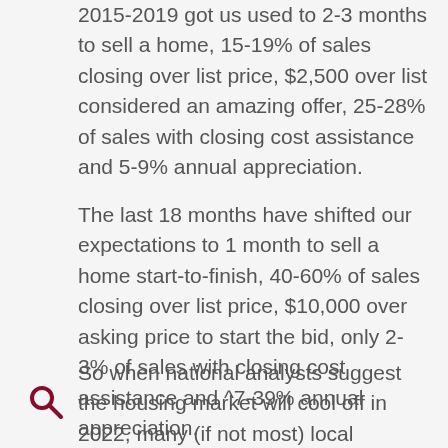2015-2019 got us used to 2-3 months to sell a home, 15-19% of sales closing over list price, $2,500 over list considered an amazing offer, 25-28% of sales with closing cost assistance and 5-9% annual appreciation.
The last 18 months have shifted our expectations to 1 month to sell a home start-to-finish, 40-60% of sales closing over list price, $10,000 over asking price to start the bid, only 2-3% of sales with closing cost assistance and ^7-39% annual appreciation.
So when national analysts suggest the housing market will cool off in 2022, many (if not most) local housing analysts believe it will remain a seller market, but a weaker one. Prices don't